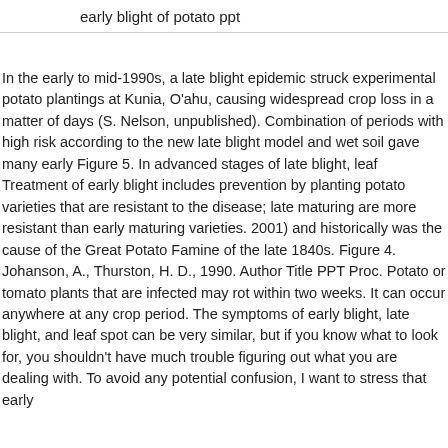early blight of potato ppt
In the early to mid-1990s, a late blight epidemic struck experimental potato plantings at Kunia, O'ahu, causing widespread crop loss in a matter of days (S. Nelson, unpublished). Combination of periods with high risk according to the new late blight model and wet soil gave many early Figure 5. In advanced stages of late blight, leaf Treatment of early blight includes prevention by planting potato varieties that are resistant to the disease; late maturing are more resistant than early maturing varieties. 2001) and historically was the cause of the Great Potato Famine of the late 1840s. Figure 4. Johanson, A., Thurston, H. D., 1990. Author Title PPT Proc. Potato or tomato plants that are infected may rot within two weeks. It can occur anywhere at any crop period. The symptoms of early blight, late blight, and leaf spot can be very similar, but if you know what to look for, you shouldn't have much trouble figuring out what you are dealing with. To avoid any potential confusion, I want to stress that early